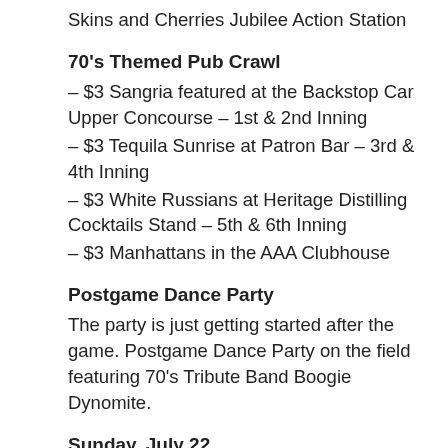Skins and Cherries Jubilee Action Station
70's Themed Pub Crawl
– $3 Sangria featured at the Backstop Car Upper Concourse – 1st & 2nd Inning
– $3 Tequila Sunrise at Patron Bar – 3rd & 4th Inning
– $3 White Russians at Heritage Distilling Cocktails Stand – 5th & 6th Inning
– $3 Manhattans in the AAA Clubhouse
Postgame Dance Party
The party is just getting started after the game. Postgame Dance Party on the field featuring 70's Tribute Band Boogie Dynomite.
Sunday, July 22